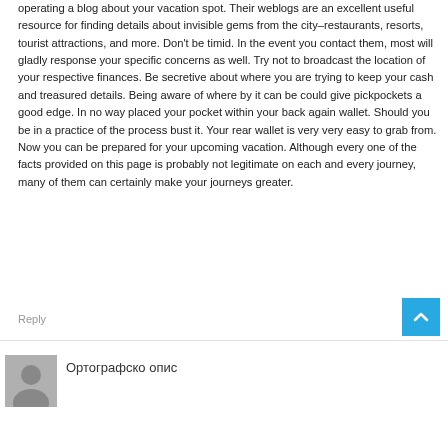operating a blog about your vacation spot. Their weblogs are an excellent useful resource for finding details about invisible gems from the city–restaurants, resorts, tourist attractions, and more. Don't be timid. In the event you contact them, most will gladly response your specific concerns as well. Try not to broadcast the location of your respective finances. Be secretive about where you are trying to keep your cash and treasured details. Being aware of where by it can be could give pickpockets a good edge. In no way placed your pocket within your back again wallet. Should you be in a practice of the process bust it. Your rear wallet is very very easy to grab from. Now you can be prepared for your upcoming vacation. Although every one of the facts provided on this page is probably not legitimate on each and every journey, many of them can certainly make your journeys greater.
Reply
Ортографско опис